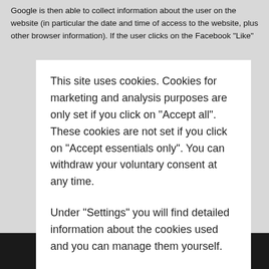Google is then able to collect information about the user on the website (in particular the date and time of access to the website, plus other browser information). If the user clicks on the Facebook "Like"
This site uses cookies. Cookies for marketing and analysis purposes are only set if you click on "Accept all". These cookies are not set if you click on "Accept essentials only". You can withdraw your voluntary consent at any time.
Under "Settings" you will find detailed information about the cookies used and you can manage them yourself.
You can find more information about